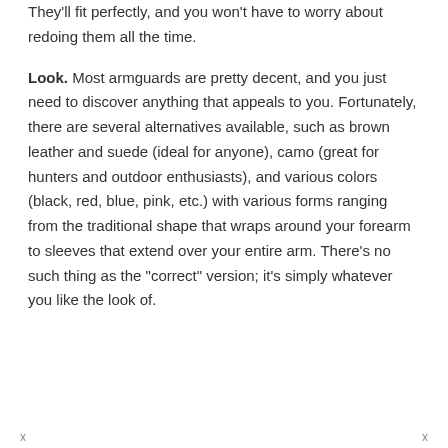They'll fit perfectly, and you won't have to worry about redoing them all the time.
Look. Most armguards are pretty decent, and you just need to discover anything that appeals to you. Fortunately, there are several alternatives available, such as brown leather and suede (ideal for anyone), camo (great for hunters and outdoor enthusiasts), and various colors (black, red, blue, pink, etc.) with various forms ranging from the traditional shape that wraps around your forearm to sleeves that extend over your entire arm. There’s no such thing as the “correct” version; it’s simply whatever you like the look of.
x x